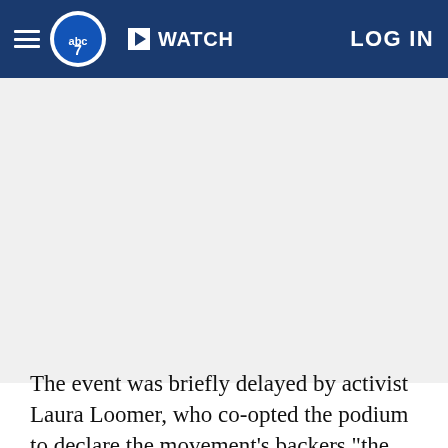WATCH   LOG IN
[Figure (other): Advertisement / placeholder image area (white/gray blank space)]
The event was briefly delayed by activist Laura Loomer, who co-opted the podium to declare the movement's backers "the real Nazi march." She interrupted Women's March NYC director Agunda